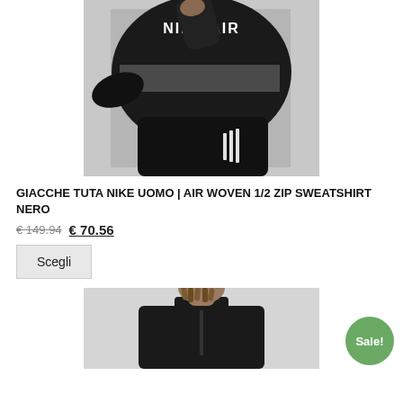[Figure (photo): Model wearing Nike Air Woven 1/2 Zip Sweatshirt in black, sitting on floor. Nike Air logo visible on chest. Black track pants with Nike branding on leg.]
GIACCHE TUTA NIKE UOMO | AIR WOVEN 1/2 ZIP SWEATSHIRT NERO
€ 149.94 € 70.56
Scegli
[Figure (photo): Male model with dreadlocks wearing black Nike jacket, upper body shot against white background. Sale! badge overlaid.]